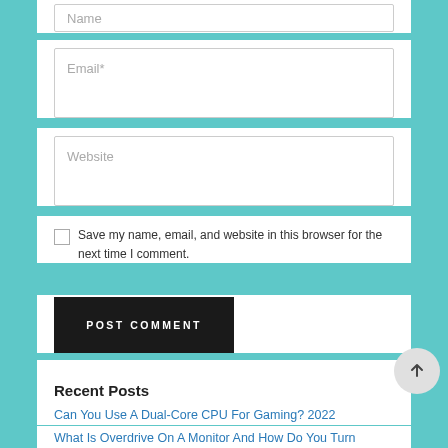[Figure (screenshot): Partial web form showing Name input field at top (cropped)]
Email *
Website
Save my name, email, and website in this browser for the next time I comment.
POST COMMENT
Recent Posts
Can You Use A Dual-Core CPU For Gaming? 2022
What Is Overdrive On A Monitor And How Do You Turn